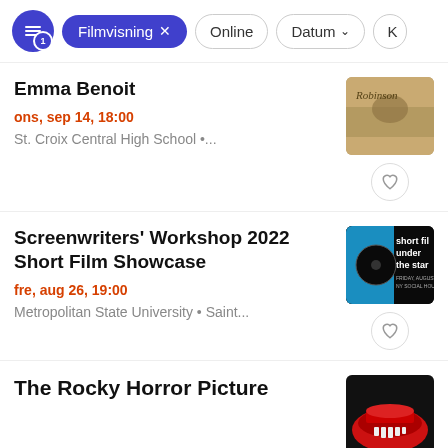Filter bar: Filmvisning × | Online | Datum ∨ | K
Emma Benoit
ons, sep 14, 18:00
St. Croix Central High School •...
Screenwriters' Workshop 2022 Short Film Showcase
fre, aug 26, 19:00
Metropolitan State University • Saint...
The Rocky Horror Picture